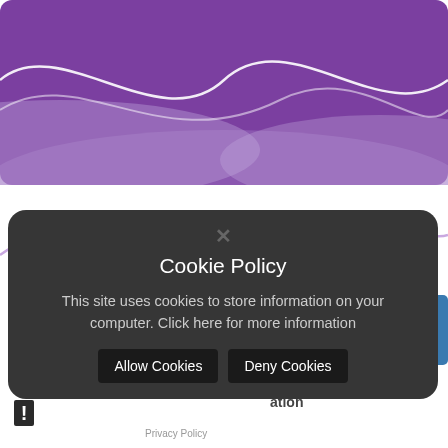[Figure (illustration): Purple wave banner with white wavy lines on a purple gradient background]
[Figure (illustration): Light purple wavy line on white background (website decorative wave)]
[Figure (screenshot): Cookie consent modal popup with dark grey background, close X button, title 'Cookie Policy', description text, and two buttons: Allow Cookies and Deny Cookies. Background shows partial Aquila logo and Click C... NVIDIA widget.]
Cookie Policy
This site uses cookies to store information on your computer. Click here for more information
Allow Cookies
Deny Cookies
ary School
ation
Privacy Policy
Site Visibility